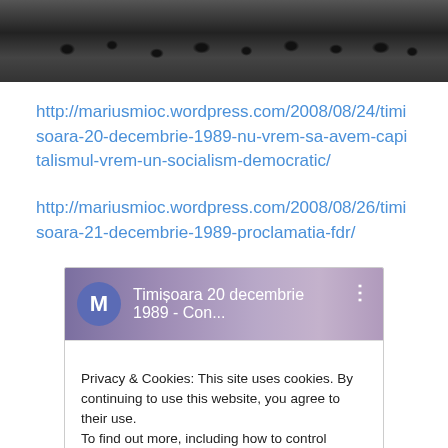[Figure (photo): Black and white photograph of a large crowd gathered outdoors, likely a historical protest or demonstration scene]
http://mariusmioc.wordpress.com/2008/08/24/timisoara-20-decembrie-1989-nu-vrem-sa-avem-capitalismul-vrem-un-socialism-democratic/
http://mariusmioc.wordpress.com/2008/08/26/timisoara-21-decembrie-1989-proclamatia-fdr/
[Figure (screenshot): Screenshot of a video thumbnail or webpage showing 'Timișoara 20 decembrie 1989 - Con...' with an M avatar circle and three-dot menu, overlaid with a cookie consent banner reading 'Privacy & Cookies: This site uses cookies. By continuing to use this website, you agree to their use. To find out more, including how to control cookies, see here: Cookie Policy' with a 'Close and accept' button]
[Figure (photo): Partial color photograph at bottom, appears to show a crowd scene with purple/dark tones]